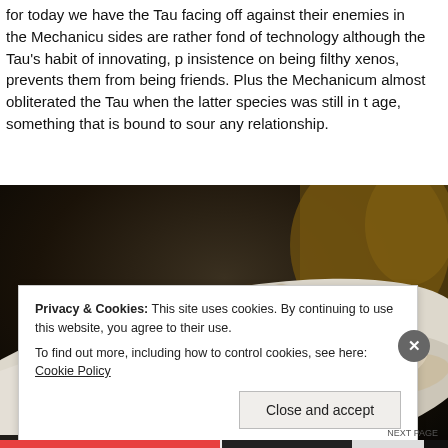for today we have the Tau facing off against their enemies in the Mechanicum sides are rather fond of technology although the Tau's habit of innovating, p insistence on being filthy xenos, prevents them from being friends. Plus the Mechanicum almost obliterated the Tau when the latter species was still in th age, something that is bound to sour any relationship.
[Figure (photo): Close-up photo of miniature figurines (appearing to be Tau or similar sci-fi wargaming miniatures in brown/tan colors) arranged along a white curved surface or terrain piece, with dark background and more figurines visible in the upper right.]
Privacy & Cookies: This site uses cookies. By continuing to use this website, you agree to their use.
To find out more, including how to control cookies, see here: Cookie Policy